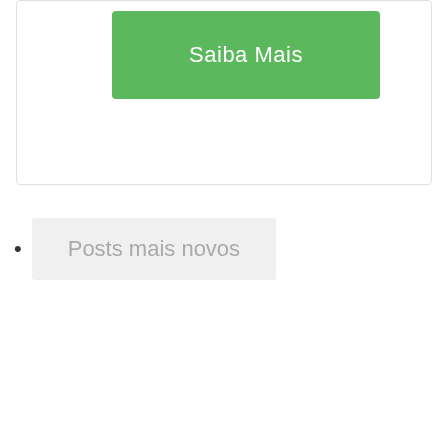[Figure (other): Green button labeled 'Saiba Mais' inside a white card with light gray border]
Posts mais novos